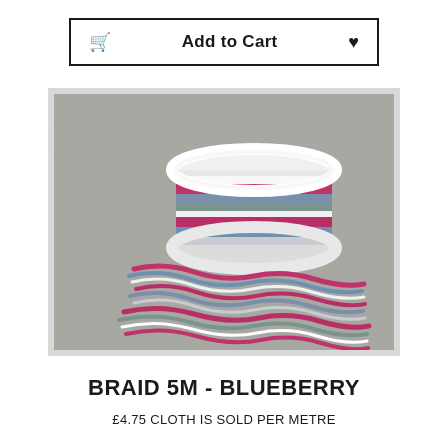Add to Cart
[Figure (photo): A spool of multicolored striped braid/ribbon in pink, blue, grey and white colors, with loose strands arranged in front, on a grey fabric background. Product is Braid 5M - Blueberry.]
BRAID 5M - BLUEBERRY
£4.75 CLOTH IS SOLD PER METRE